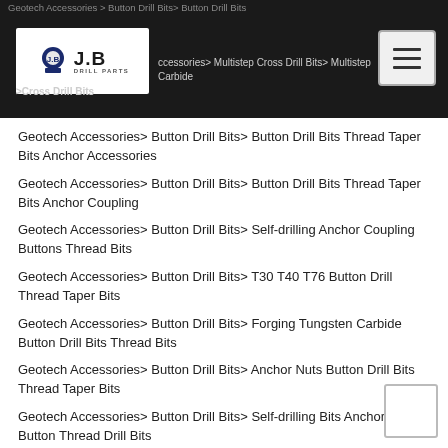Geotech Accessories > Button Drill Bits > Button Drill Bits | Geotech Accessories > Multistep Cross Drill Bits > Multistep Carbide Cross Drill Bits
Geotech Accessories> Button Drill Bits> Button Drill Bits Thread Taper Bits Anchor Accessories
Geotech Accessories> Button Drill Bits> Button Drill Bits Thread Taper Bits Anchor Coupling
Geotech Accessories> Button Drill Bits> Self-drilling Anchor Coupling Buttons Thread Bits
Geotech Accessories> Button Drill Bits> T30 T40 T76 Button Drill Thread Taper Bits
Geotech Accessories> Button Drill Bits> Forging Tungsten Carbide Button Drill Bits Thread Bits
Geotech Accessories> Button Drill Bits> Anchor Nuts Button Drill Bits Thread Taper Bits
Geotech Accessories> Button Drill Bits> Self-drilling Bits Anchor Nut Button Thread Drill Bits